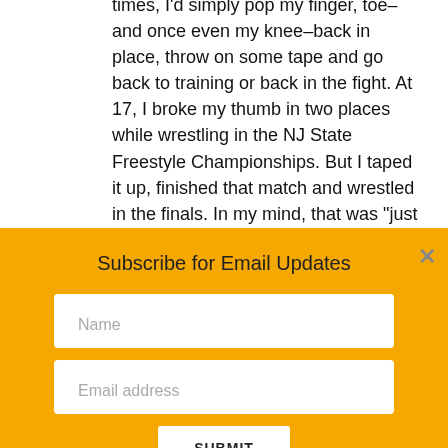times, I'd simply pop my finger, toe–and once even my knee–back in place, throw on some tape and go back to training or back in the fight. At 17, I broke my thumb in two places while wrestling in the NJ State Freestyle Championships. But I taped it up, finished that match and wrestled in the finals. In my mind, that was "just another day at the office".
Subscribe for Email Updates
Name
Email address
SUBMIT